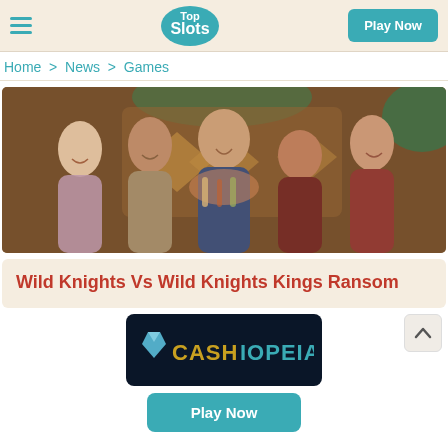Top Slots — Play Now
Home > News > Games
[Figure (photo): Group of five people in a casino bar setting, smiling and toasting with cocktails, with decorative diamond shapes in the background.]
Wild Knights Vs Wild Knights Kings Ransom
[Figure (logo): Cashiopeia logo — dark navy background with a gem icon and the word CASHIOPEIA in gold/teal lettering.]
Play Now